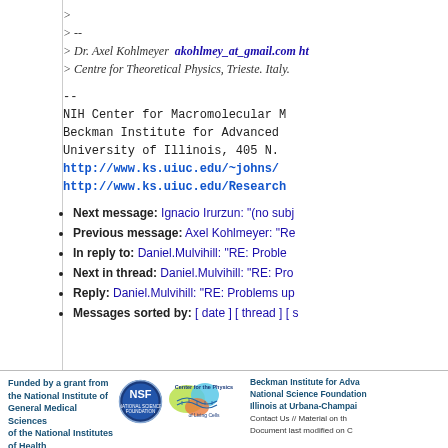>
> --
> Dr. Axel Kohlmeyer  akohlmey_at_gmail.com ht
> Centre for Theoretical Physics, Trieste. Italy.
--
NIH Center for Macromolecular M
Beckman Institute for Advanced
University of Illinois, 405 N.
http://www.ks.uiuc.edu/~johns/
http://www.ks.uiuc.edu/Research
Next message: Ignacio Irurzun: "(no subj
Previous message: Axel Kohlmeyer: "Re
In reply to: Daniel.Mulvihill: "RE: Proble m
Next in thread: Daniel.Mulvihill: "RE: Pro
Reply: Daniel.Mulvihill: "RE: Problems up
Messages sorted by: [ date ] [ thread ] [ s
Funded by a grant from the National Institute of General Medical Sciences of the National Institutes of Health
[Figure (logo): NSF (National Science Foundation) circular logo with blue border and text]
[Figure (logo): Center for the Physics of Living Cells logo with colorful molecule graphic]
Beckman Institute for Adva National Science Foundation Illinois at Urbana-Champai
Contact Us // Material on th Document last modified on C